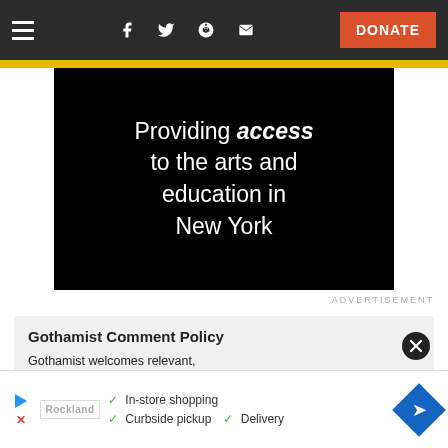Navigation bar with hamburger menu, social icons (Facebook, Twitter, Reddit, Email), and DONATE button
[Figure (illustration): Black background advertisement image with text: Providing access to the arts and education in New York]
ADVERTISEMENT
Gothamist Comment Policy
Gothamist welcomes relevant, constructive, and interesting comments. Please be respectful and stay on-topic!
Please read our Comment Policy before commenting.
[Figure (other): Bottom advertisement bar showing store features: In-store shopping, Curbside pickup, Delivery with navigation icon]